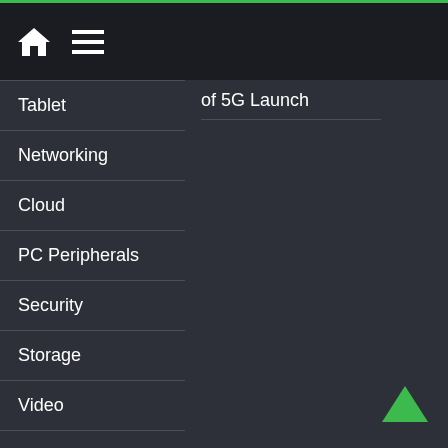Navigation menu header with home and menu icons
Tablet
Networking
Cloud
PC Peripherals
Security
Storage
Video
About Us
Contact Us
Privacy
of 5G Launch